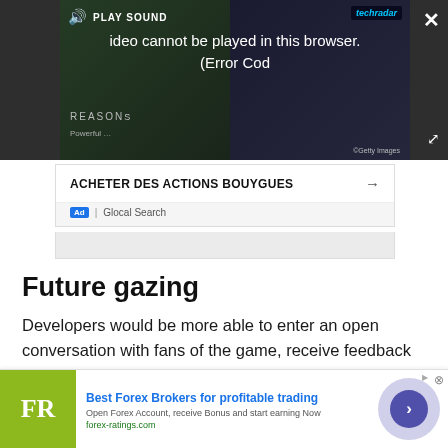[Figure (screenshot): Video player overlay showing 'PLAY SOUND' button and error message: 'Video cannot be played in this browser. (Error Cod' with TechRadar branding and close/expand controls on dark background.]
ACHETER DES ACTIONS BOUYGUES →
Ad | Glocal Search
Future gazing
Developers would be more able to enter an open conversation with fans of the game, receive feedback and explain what changes can and can't be made, while fans wouldn't have to wait a year to buy a new
[Figure (screenshot): Bottom advertisement banner for 'Best Forex Brokers for profitable trading' by forex-ratings.com with FR logo, description text and circular arrow button.]